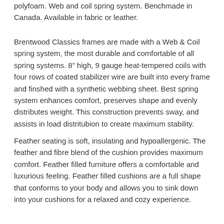polyfoam. Web and coil spring system. Benchmade in Canada. Available in fabric or leather.
Brentwood Classics frames are made with a Web & Coil spring system, the most durable and comfortable of all spring systems. 8″ high, 9 gauge heat-tempered coils with four rows of coated stabilizer wire are built into every frame and finshed with a synthetic webbing sheet. Best spring system enhances comfort, preserves shape and evenly distributes weight. This construction prevents sway, and assists in load distritubion to create maximum stability.
Feather seating is soft, insulating and hypoallergenic. The feather and fibre blend of the cushion provides maximum comfort. Feather filled furniture offers a comfortable and luxurious feeling. Feather filled cushions are a full shape that conforms to your body and allows you to sink down into your cushions for a relaxed and cozy experience.